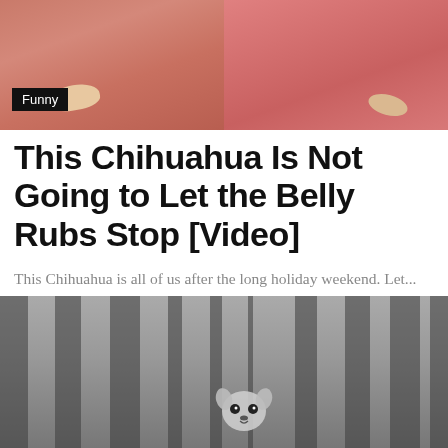[Figure (photo): Two side-by-side images showing hands/belly rub scene with pink/warm tones, with a black 'Funny' category badge overlay on left image]
This Chihuahua Is Not Going to Let the Belly Rubs Stop [Video]
This Chihuahua is all of us after the long holiday weekend. Let...
ChihuaCorner · June 17, 2022 · No comments · 61 views · 1 minute read
[Figure (photo): Black and white photo of a Chihuahua peeking through vertical blinds or bars, looking directly at camera]